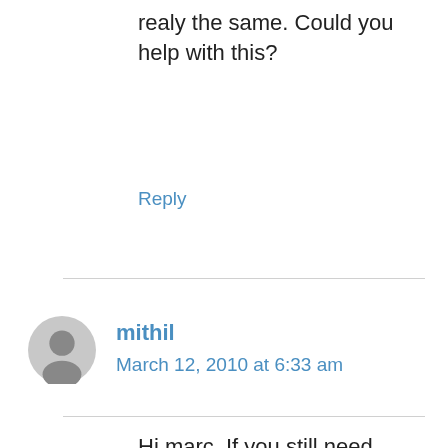realy the same. Could you help with this?
Reply
mithil
March 12, 2010 at 6:33 am
Hi marc. If you still need help with netbeans, let me know, i will try it in netbeans and update this post.
Reply